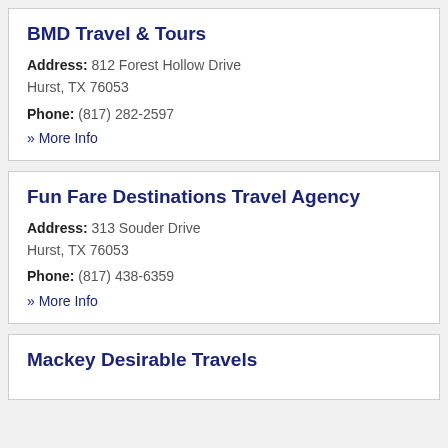BMD Travel & Tours
Address: 812 Forest Hollow Drive Hurst, TX 76053
Phone: (817) 282-2597
» More Info
Fun Fare Destinations Travel Agency
Address: 313 Souder Drive Hurst, TX 76053
Phone: (817) 438-6359
» More Info
Mackey Desirable Travels